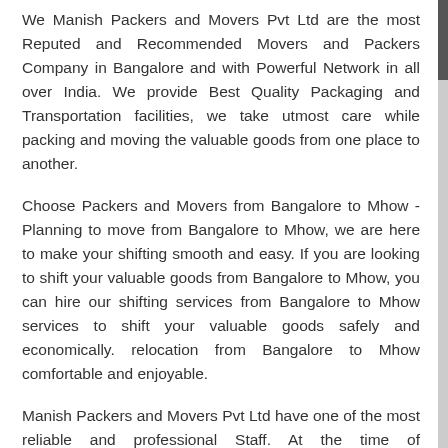We Manish Packers and Movers Pvt Ltd are the most Reputed and Recommended Movers and Packers Company in Bangalore and with Powerful Network in all over India. We provide Best Quality Packaging and Transportation facilities, we take utmost care while packing and moving the valuable goods from one place to another.
Choose Packers and Movers from Bangalore to Mhow - Planning to move from Bangalore to Mhow, we are here to make your shifting smooth and easy. If you are looking to shift your valuable goods from Bangalore to Mhow, you can hire our shifting services from Bangalore to Mhow services to shift your valuable goods safely and economically. relocation from Bangalore to Mhow comfortable and enjoyable.
Manish Packers and Movers Pvt Ltd have one of the most reliable and professional Staff. At the time of house/offices